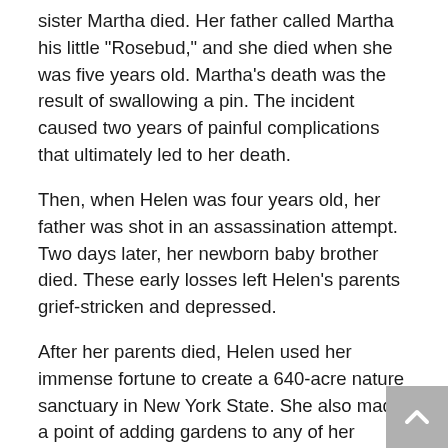sister Martha died. Her father called Martha his little "Rosebud," and she died when she was five years old. Martha's death was the result of swallowing a pin. The incident caused two years of painful complications that ultimately led to her death.
Then, when Helen was four years old, her father was shot in an assassination attempt. Two days later, her newborn baby brother died. These early losses left Helen's parents grief-stricken and depressed.
After her parents died, Helen used her immense fortune to create a 640-acre nature sanctuary in New York State. She also made a point of adding gardens to any of her developments. She also gave money for